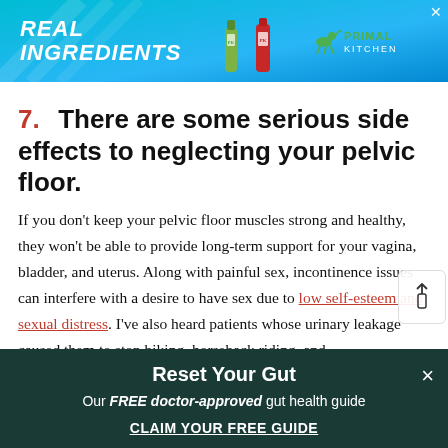[Figure (screenshot): Advertisement banner for Primal Kitchen with blue background, product images, and brand logo with text 'REAL INGREDIENTS']
7. There are some serious side effects to neglecting your pelvic floor.
If you don't keep your pelvic floor muscles strong and healthy, they won't be able to provide long-term support for your vagina, bladder, and uterus. Along with painful sex, incontinence issues can interfere with a desire to have sex due to low self-esteem and sexual distress. I've also heard patients whose urinary leakage caused them to stop biking, horseback riding, and
[Figure (screenshot): Bottom promotional bar with dark green background: 'Reset Your Gut — Our FREE doctor-approved gut health guide — CLAIM YOUR FREE GUIDE']